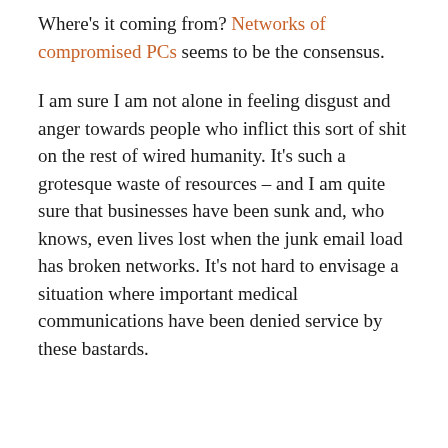Where's it coming from? Networks of compromised PCs seems to be the consensus.
I am sure I am not alone in feeling disgust and anger towards people who inflict this sort of shit on the rest of wired humanity. It's such a grotesque waste of resources – and I am quite sure that businesses have been sunk and, who knows, even lives lost when the junk email load has broken networks. It's not hard to envisage a situation where important medical communications have been denied service by these bastards.